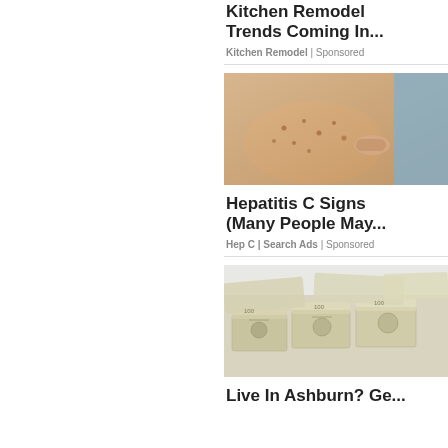Kitchen Remodel Trends Coming In...
Kitchen Remodel | Sponsored
[Figure (photo): Close-up of a person pointing at a skin rash or spots on their arm, medical context]
Hepatitis C Signs (Many People May...
Hep C | Search Ads | Sponsored
[Figure (photo): Stacks of US dollar bills spread out, financial/money context]
Live In Ashburn? Get...